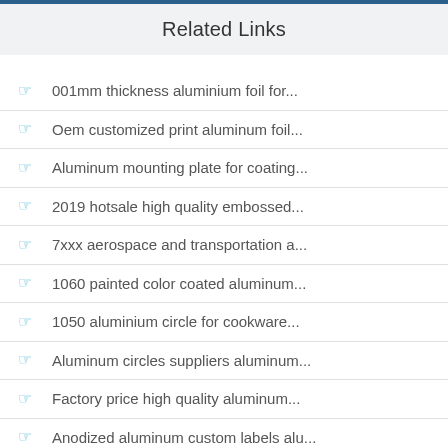Related Links
001mm thickness aluminium foil for...
Oem customized print aluminum foil...
Aluminum mounting plate for coating...
2019 hotsale high quality embossed...
7xxx aerospace and transportation a...
1060 painted color coated aluminum...
1050 aluminium circle for cookware...
Aluminum circles suppliers aluminum...
Factory price high quality aluminum...
Anodized aluminum custom labels alu...
Checkered plate circle aluminum...